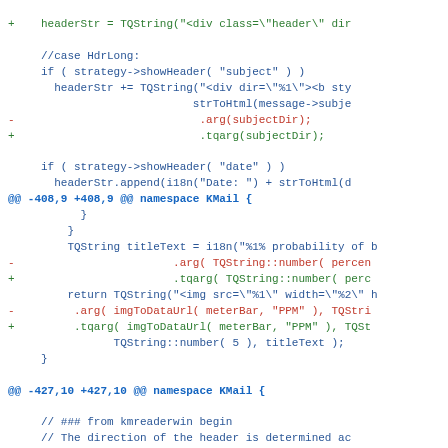Code diff showing changes from .arg() to .tqarg() in KMail namespace, including headerStr, titleText, and comment changes.